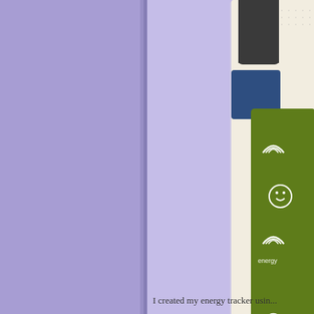[Figure (photo): Left half: purple/lavender textile fabric panel. Right half: lavender background with a cropped photo showing a dotted bullet journal page with dark gray, navy blue, and olive green tab stickers featuring rainbow patterns, and a 'time fo...' brand logo at the bottom with a light blue strip.]
I created my energy tracker usin...